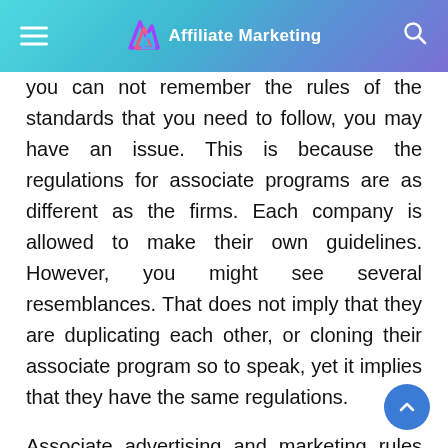Affiliate Marketing
you can not remember the rules of the standards that you need to follow, you may have an issue. This is because the regulations for associate programs are as different as the firms. Each company is allowed to make their own guidelines. However, you might see several resemblances. That does not imply that they are duplicating each other, or cloning their associate program so to speak, yet it implies that they have the same regulations.

Associate advertising and marketing rules can be so very different. They can range from not mentioning the trademark name that they sell anywhere on your website, to not having that certain market in your internet site link. Because they are so different for each program and also the company that you promote, you are going to have to make sure that you review each one well as well as make